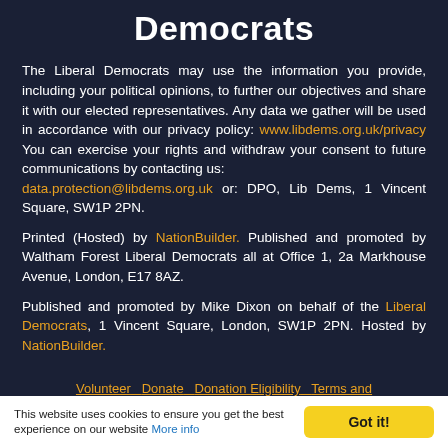Democrats
The Liberal Democrats may use the information you provide, including your political opinions, to further our objectives and share it with our elected representatives. Any data we gather will be used in accordance with our privacy policy: www.libdems.org.uk/privacy You can exercise your rights and withdraw your consent to future communications by contacting us: data.protection@libdems.org.uk or: DPO, Lib Dems, 1 Vincent Square, SW1P 2PN.
Printed (Hosted) by NationBuilder. Published and promoted by Waltham Forest Liberal Democrats all at Office 1, 2a Markhouse Avenue, London, E17 8AZ.
Published and promoted by Mike Dixon on behalf of the Liberal Democrats, 1 Vincent Square, London, SW1P 2PN. Hosted by NationBuilder.
Volunteer   Donate   Donation Eligibility   Terms and
This website uses cookies to ensure you get the best experience on our website More info